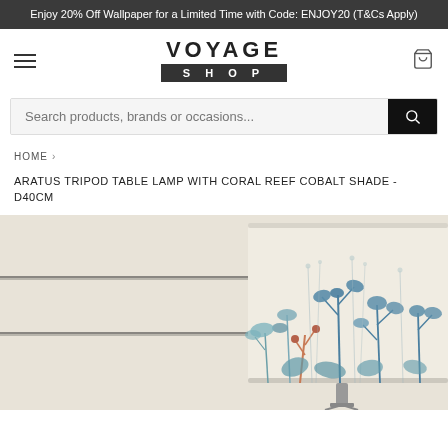Enjoy 20% Off Wallpaper for a Limited Time with Code: ENJOY20 (T&Cs Apply)
[Figure (logo): Voyage Shop logo with hamburger menu and bag icon]
Search products, brands or occasions...
HOME >
ARATUS TRIPOD TABLE LAMP WITH CORAL REEF COBALT SHADE - D40CM
[Figure (photo): Product photo of a lampshade with coral reef botanical illustration in blue and natural tones on a cream/off-white background with horizontal striped wall]